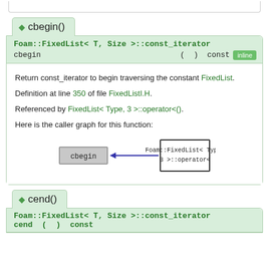◆ cbegin()
Foam::FixedList< T, Size >::const_iterator cbegin ( ) const [inline]
Return const_iterator to begin traversing the constant FixedList.
Definition at line 350 of file FixedListI.H.
Referenced by FixedList< Type, 3 >::operator<().
Here is the caller graph for this function:
[Figure (flowchart): Caller graph showing cbegin node (gray) with arrow from Foam::FixedList< Type, 3 >::operator< node (white)]
◆ cend()
Foam::FixedList< T, Size >::const_iterator cend ( ) const